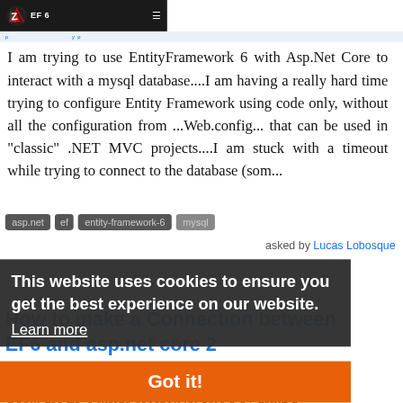EF 6
I am trying to use EntityFramework 6 with Asp.Net Core to interact with a mysql database....I am having a really hard time trying to configure Entity Framework using code only, without all the configuration from ...Web.config... that can be used in "classic" .NET MVC projects....I am stuck with a timeout while trying to connect to the database (som...
asp.net  ef  entity-framework-6  mysql
asked by Lucas Lobosque
This website uses cookies to ensure you get the best experience on our website.
Learn more
How to make a Connection between EF6 and asp.net core 2
Got it!
Goo... use EF 6 inside of ASP.Net core 5 by using a